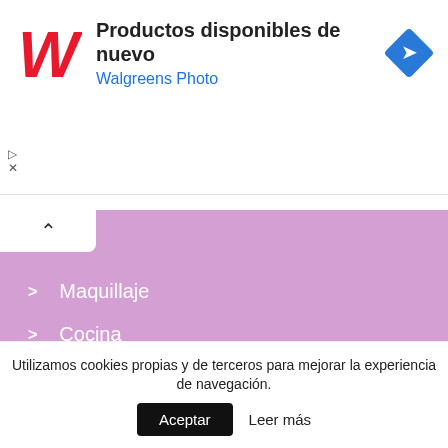[Figure (screenshot): Walgreens Photo advertisement banner with red cursive W logo, text 'Productos disponibles de nuevo' and 'Walgreens Photo' in blue, and a blue diamond direction sign icon on the right]
> Maquillaje
> Cocina
> Moda
> Aventuras
> Educativos
> Animales
> Bebés
> Música
Utilizamos cookies propias y de terceros para mejorar la experiencia de navegación.
Aceptar  Leer más